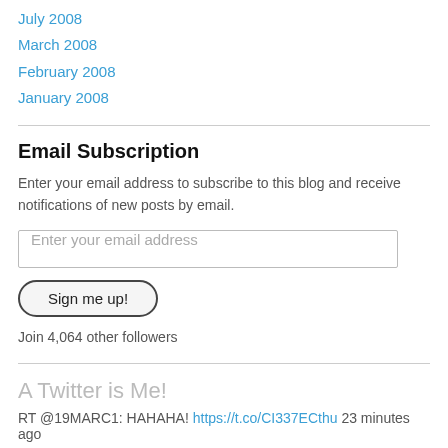July 2008
March 2008
February 2008
January 2008
Email Subscription
Enter your email address to subscribe to this blog and receive notifications of new posts by email.
Enter your email address
Sign me up!
Join 4,064 other followers
A Twitter is Me!
RT @19MARC1: HAHAHA! https://t.co/CI337ECthu 23 minutes ago